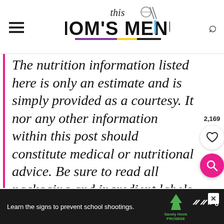this Mom's Menu
The nutrition information listed here is only an estimate and is simply provided as a courtesy. It nor any other information within this post should constitute medical or nutritional advice. Be sure to read all packaging and ingredient labels for potential
[Figure (other): Social sharing widget with save count 2,169, heart/save button, and pink search button]
Learn the signs to prevent school shootings. Sandy Hook Promise [advertisement]